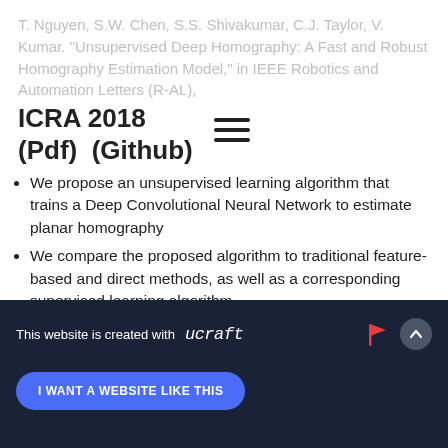T. Nguyen, S.W. Chen, S.S. Shivakumar, C.J. Taylor, V. Kumar. "Unsupervised Deep Homography: A Fast and Robust Homography Estimation Model," in IEEE Robotics and Automation Letters (R-AL),
ICRA 2018
(Pdf)  (Github)
We propose an unsupervised learning algorithm that trains a Deep Convolutional Neural Network to estimate planar homography
We compare the proposed algorithm to traditional feature-based and direct methods, as well as a corresponding supervised learning algorithm
This website is created with ucraft | I WANT A WEBSITE LIKE THIS